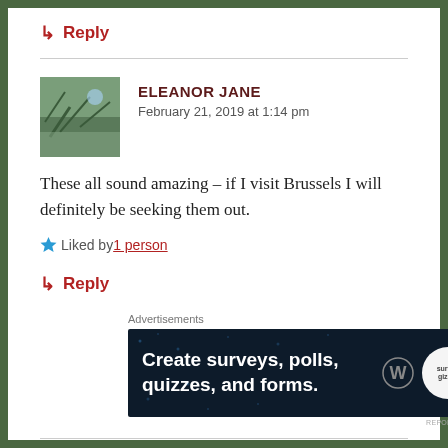↳ Reply
[Figure (photo): Avatar photo of Eleanor Jane — outdoor scene with trees]
ELEANOR JANE
February 21, 2019 at 1:14 pm
These all sound amazing – if I visit Brussels I will definitely be seeking them out.
★ Liked by 1 person
↳ Reply
Advertisements
[Figure (screenshot): Advertisement banner: Create surveys, polls, quizzes, and forms. WordPress logo and circular badge.]
REPORT THIS AD
DENISSESAMANTHA